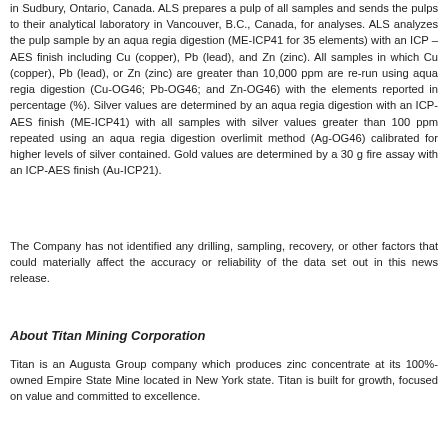in Sudbury, Ontario, Canada. ALS prepares a pulp of all samples and sends the pulps to their analytical laboratory in Vancouver, B.C., Canada, for analyses. ALS analyzes the pulp sample by an aqua regia digestion (ME-ICP41 for 35 elements) with an ICP – AES finish including Cu (copper), Pb (lead), and Zn (zinc). All samples in which Cu (copper), Pb (lead), or Zn (zinc) are greater than 10,000 ppm are re-run using aqua regia digestion (Cu-OG46; Pb-OG46; and Zn-OG46) with the elements reported in percentage (%). Silver values are determined by an aqua regia digestion with an ICP-AES finish (ME-ICP41) with all samples with silver values greater than 100 ppm repeated using an aqua regia digestion overlimit method (Ag-OG46) calibrated for higher levels of silver contained. Gold values are determined by a 30 g fire assay with an ICP-AES finish (Au-ICP21).
The Company has not identified any drilling, sampling, recovery, or other factors that could materially affect the accuracy or reliability of the data set out in this news release.
About Titan Mining Corporation
Titan is an Augusta Group company which produces zinc concentrate at its 100%-owned Empire State Mine located in New York state. Titan is built for growth, focused on value and committed to excellence.